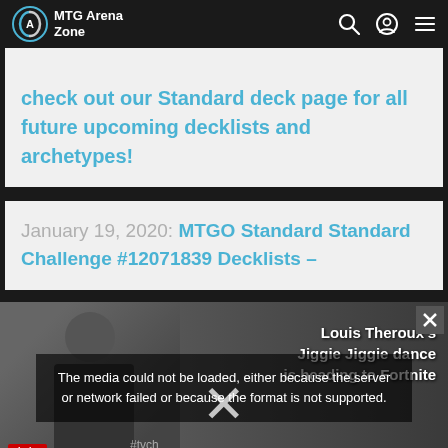MTG Arena Zone
check out our Standard deck page for all future upcoming decklists and archetypes!
January 19, 2020: MTGO Standard Standard Challenge #12071839 Decklists –
[Figure (screenshot): Video player showing media error: 'The media could not be loaded, either because the server or network failed or because the format is not supported.' with Louis Theroux's Jiggie Jiggie dance is heading to Fortnite sidebar text, overlaid on a blurred background]
[Figure (screenshot): Advertisement bar: Dulles OPEN 10AM-8PM, 45575 Dulles Eastern Plaza, Suite 171, D]